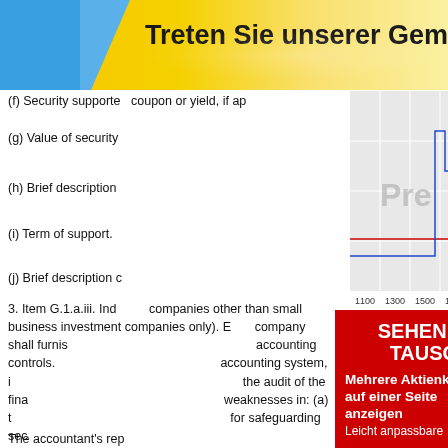[Figure (infographic): Top banner with blue and yellow-gold gradient background, text 'Treten Sie unserer Gemeinschaft bei' (partially visible)]
(f) Security supported by an asset pool that bears a coupon or yield, if applicable.
(g) Value of security
[Figure (continuous-plot): Line chart showing price movements around values 5.66-5.7, with x-axis ticks 1100, 1300, 1500, 1700, 1900, 2100. A blue stepped line peaks around 1600-1700, with a red dot marker and horizontal red line near 5.68. Watermark text 'Pre'. Attribution: (c) www.advfn.com]
(h) Brief description
(i) Term of support.
(j) Brief description of
3. Item G.1.a.iii. Index — (Applicable to management companies other than small business investment companies only). Each company shall furnish a report of its system of internal accounting controls. The report shall describe the accounting system, identify any material weaknesses found in the audit of the financial statements, and describe any weaknesses in: (a) the maintenance of records; (b) policies for safeguarding securities and funds;
[Figure (infographic): Red advertisement banner with text: 'SEHEN SIE ES. TAUSCH ES!' in bold white, 'Mehrere Aktienkurse auf einer Seite anzeigen' in bold white, 'Leicht anpassbare' partially visible]
The accountant's report shall be furnished to the Registrant's shareholders (if any) and shall include the city and state where